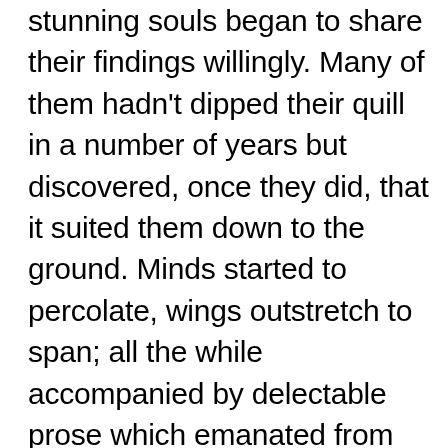stunning souls began to share their findings willingly. Many of them hadn't dipped their quill in a number of years but discovered, once they did, that it suited them down to the ground. Minds started to percolate, wings outstretch to span; all the while accompanied by delectable prose which emanated from deep within. Me being me, I just had to get me a slice of that homemade apple pie, so I grabbed my plate and jumped to the head of the queue as I'm impish. Actually it was requested that I address the Grueheads for this week's challenge and I accepted gratefully as I see where this is leading and I like that shit.